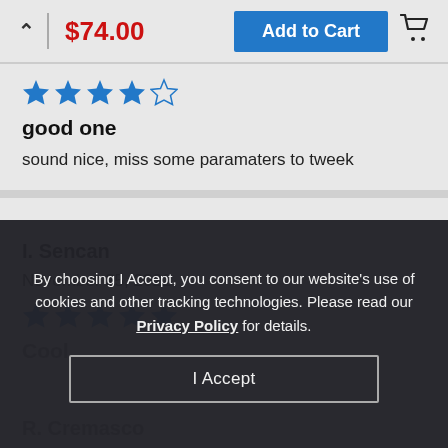$74.00
Add to Cart
[Figure (other): 4 out of 5 stars rating (4 filled blue stars, 1 empty star)]
good one
sound nice, miss some paramaters to tweek
I. Sencan
November 25, 2021
[Figure (other): 5 out of 5 stars rating (5 filled blue stars)]
Cool
By choosing I Accept, you consent to our website's use of cookies and other tracking technologies. Please read our Privacy Policy for details.
I Accept
R. Cremasco